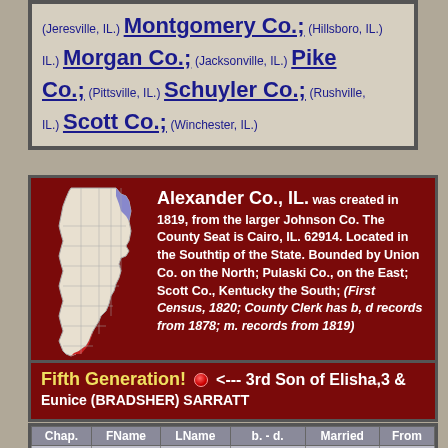(Jeresville, IL.) Montgomery Co.; (Hillsboro, IL.) Morgan Co.; (Jacksonville, IL.) Pike Co.; (Pittsville, IL.) Schuyler Co.; (Rushville, IL.) Scott Co.; (Winchester, IL.)
Alexander Co., IL. was created in 1819, from the larger Johnson Co. The County Seat is Cairo, IL. 62914. Located in the Southtip of the State. Bounded by Union Co. on the North; Pulaski Co., on the East; Scott Co., Kentucky the South; (First Census, 1820; County Clerk has b, d records from 1878; m. records from 1819) <--- See: Alexander Co., 1895 <--- See: County Stats from Wikipedia, (the free encyclopedia)
Fifth Generation! <--- 3rd Son of Elisha,3 & Eunice (BRADSHER) SARRATT
| Chap. | FName | LName | b. - d. | Married | From |
| --- | --- | --- | --- | --- | --- |
|  |  |  | ~1839 TN |  |  |